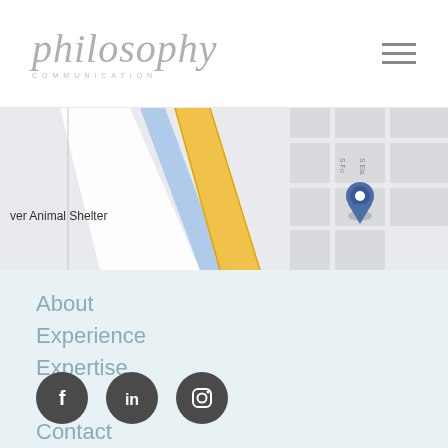philosophy COMMUNICATION
[Figure (map): Google Maps excerpt showing a location pin near 'ver Animal Shelter', 'Smokin Yard's BBQ', and partial 'Goo Broa' text, with roads including a yellow highway and blue waterway]
About
Experience
Expertise
Blog
Contact
[Figure (illustration): Three social media icons: Facebook (f), LinkedIn (in), Instagram (camera) as dark grey circles]